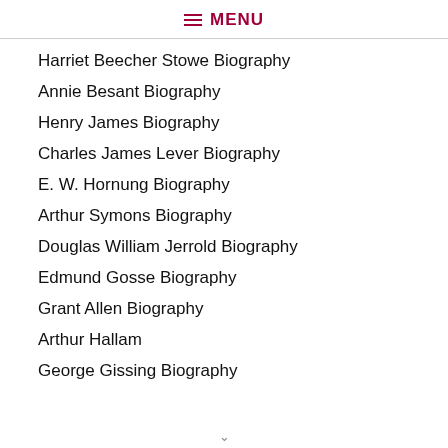≡ MENU
Harriet Beecher Stowe Biography
Annie Besant Biography
Henry James Biography
Charles James Lever Biography
E. W. Hornung Biography
Arthur Symons Biography
Douglas William Jerrold Biography
Edmund Gosse Biography
Grant Allen Biography
Arthur Hallam
George Gissing Biography